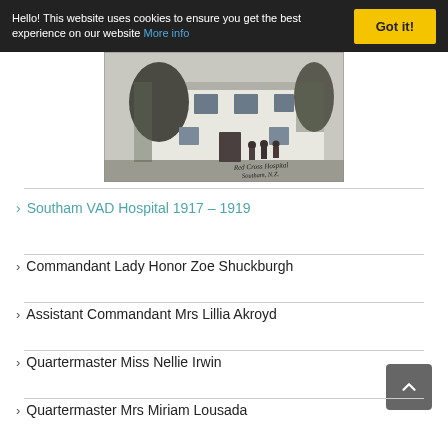Hello! This website uses cookies to ensure you get the best experience on our website More info  Got it!
[Figure (photo): Black and white photograph of a two-storey white building (Red Cross Hospital, Southam) with trees and people standing outside. Handwritten text reads 'Red Cross Hospital Southam'.]
Southam VAD Hospital 1917 – 1919
Commandant Lady Honor Zoe Shuckburgh
Assistant Commandant Mrs Lillia Akroyd
Quartermaster Miss Nellie Irwin
Quartermaster Mrs Miriam Lousada